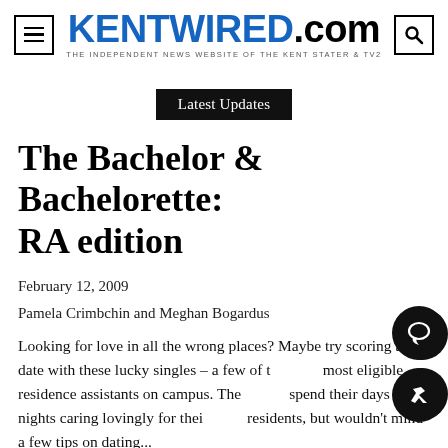KENTWIRED.com — THE INDEPENDENT NEWS WEBSITE OF THE KENT STATER & TV2
Latest Updates
The Bachelor & Bachelorette: RA edition
February 12, 2009
Pamela Crimbchin and Meghan Bogardus
Looking for love in all the wrong places? Maybe try scoring a date with these lucky singles – a few of the most eligible residence assistants on campus. They spend their days and nights caring lovingly for their residents, but wouldn't mind a few tips on dating...